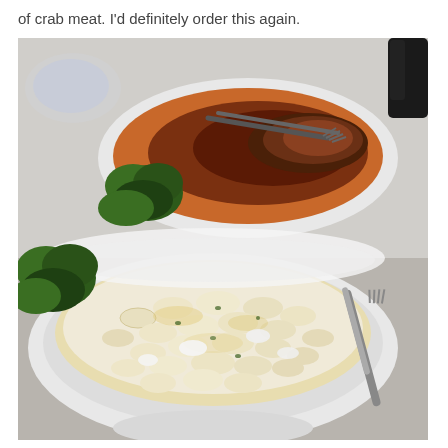of crab meat. I'd definitely order this again.
[Figure (photo): Restaurant food photo showing two dishes: in the background, a white plate with a meat dish (appears to be braised meat with dark sauce and fork resting on it with a sprig of parsley garnish); in the foreground, a large white bowl filled with creamy macaroni and cheese with visible chunks of crab meat and a fork resting on the right side.]